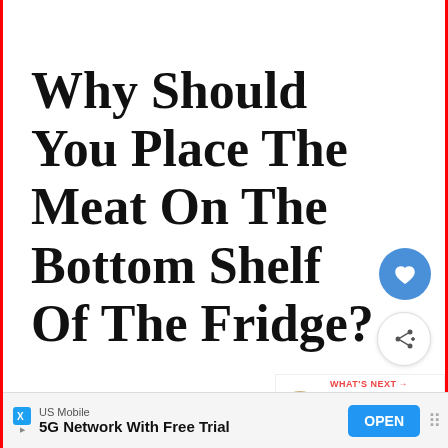Why Should You Place The Meat On The Bottom Shelf Of The Fridge?
It is because the cold air flows
[Figure (screenshot): WHAT'S NEXT panel with thumbnail image of food and caption 'What happens if you eat...']
and collects at the bottom of the fridge,
[Figure (screenshot): Advertisement banner: US Mobile, 5G Network With Free Trial, OPEN button]